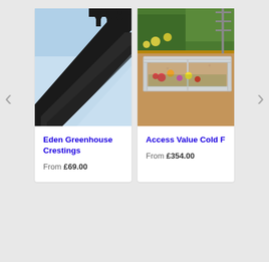[Figure (photo): Left navigation arrow (chevron) in grey]
[Figure (photo): Close-up photo of black ornate greenhouse crestings with fleur-de-lis finials against blue sky]
Eden Greenhouse Crestings
From £69.00
[Figure (photo): Photo of a small aluminium cold frame greenhouse with colourful flowers inside, set on gravel in a garden]
Access Value Cold F
From £354.00
[Figure (photo): Right navigation arrow (chevron) in grey]